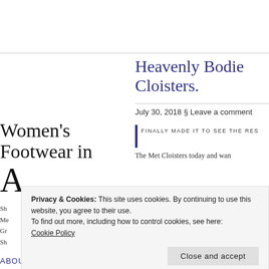Heavenly Bodies Cloisters.
July 30, 2018 § Leave a comment
Women's Footwear in
I FINALLY MADE IT TO SEE THE RES… The Met Cloisters today and wan…
Privacy & Cookies: This site uses cookies. By continuing to use this website, you agree to their use. To find out more, including how to control cookies, see here: Cookie Policy
Close and accept
ABOUT
[Figure (photo): Dark photograph strip at bottom right]